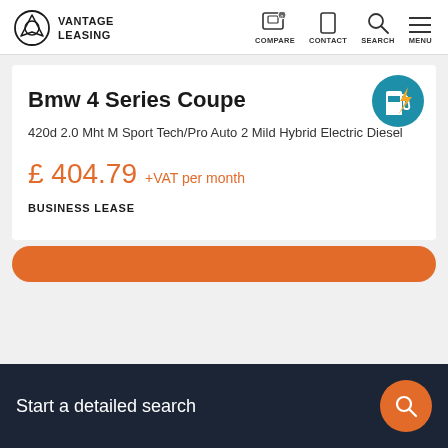VANTAGE LEASING — COMPARE  CONTACT  SEARCH  MENU
Bmw 4 Series Coupe
420d 2.0 Mht M Sport Tech/Pro Auto 2 Mild Hybrid Electric Diesel
£ 404.79 +VAT per month
BUSINESS LEASE
Start a detailed search